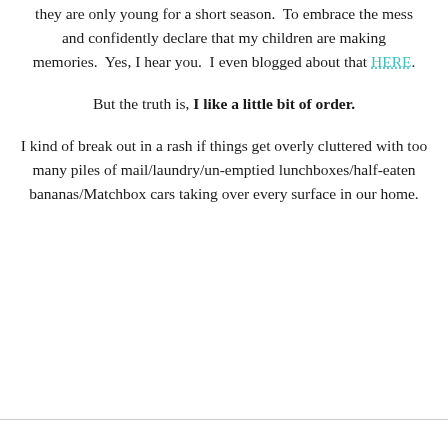they are only young for a short season. To embrace the mess and confidently declare that my children are making memories. Yes, I hear you. I even blogged about that HERE.
But the truth is, I like a little bit of order.
I kind of break out in a rash if things get overly cluttered with too many piles of mail/laundry/un-emptied lunchboxes/half-eaten bananas/Matchbox cars taking over every surface in our home.